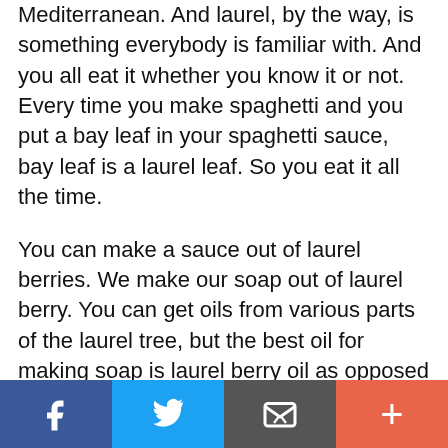Mediterranean. And laurel, by the way, is something everybody is familiar with. And you all eat it whether you know it or not. Every time you make spaghetti and you put a bay leaf in your spaghetti sauce, bay leaf is a laurel leaf. So you eat it all the time.
You can make a sauce out of laurel berries. We make our soap out of laurel berry. You can get oils from various parts of the laurel tree, but the best oil for making soap is laurel berry oil as opposed to laurel leaf oil.
DEBRA: Now, let me ask you a question here. I know that some people are listening and saying, "That stuff sounds great."
[Figure (other): Social sharing bar with four buttons: Facebook (blue), Twitter (light blue), Email/envelope (gray), and More/plus (coral/orange-red)]